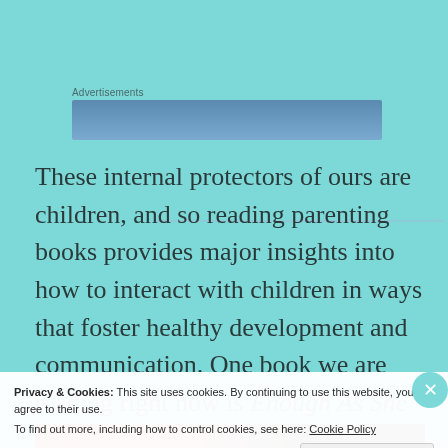Advertisements
[Figure (other): Blue advertisement banner placeholder]
These internal protectors of ours are children, and so reading parenting books provides major insights into how to interact with children in ways that foster healthy development and communication. One book we are reading right now is Enough As She Is by Rachel Simmons. This book about parenting a teenage girl will
Privacy & Cookies: This site uses cookies. By continuing to use this website, you agree to their use.
To find out more, including how to control cookies, see here: Cookie Policy
Close and accept